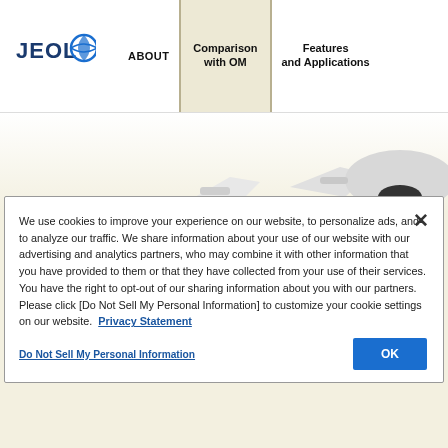JEOL | ABOUT | Comparison with OM | Features and Applications
[Figure (photo): Partial view of a white JEOL microscope instrument against a light background]
We use cookies to improve your experience on our website, to personalize ads, and to analyze our traffic. We share information about your use of our website with our advertising and analytics partners, who may combine it with other information that you have provided to them or that they have collected from your use of their services. You have the right to opt-out of our sharing information about you with our partners. Please click [Do Not Sell My Personal Information] to customize your cookie settings on our website. Privacy Statement
Do Not Sell My Personal Information
OK